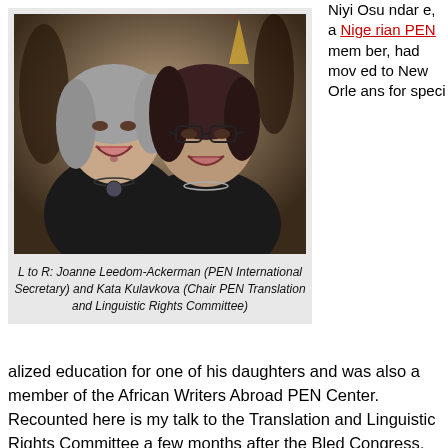[Figure (photo): Two women smiling side by side at a formal event, both wearing black. The woman on the left has gray hair and a pendant necklace. The woman on the right has dark hair and glasses.]
L to R: Joanne Leedom-Ackerman (PEN International Secretary) and Kata Kulavkova (Chair PEN Translation and Linguistic Rights Committee)
Niyi Osundare, a Nigerian PEN member, had moved to New Orleans for specialized education for one of his daughters and was also a member of the African Writers Abroad PEN Center. Recounted here is my talk to the Translation and Linguistic Rights Committee a few months after the Bled Congress, in September 2005. Only as I recently read the end of my paper did I grasp the connections and